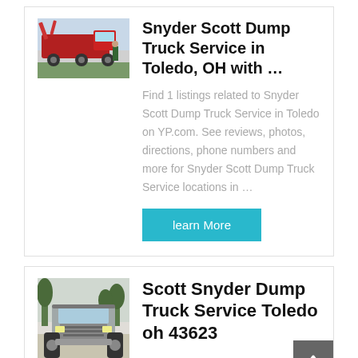[Figure (photo): Red dump truck / concrete pump truck, side view]
Snyder Scott Dump Truck Service in Toledo, OH with …
Find 1 listings related to Snyder Scott Dump Truck Service in Toledo on YP.com. See reviews, photos, directions, phone numbers and more for Snyder Scott Dump Truck Service locations in …
[Figure (photo): Silver/grey dump truck, front view with trees in background]
Scott Snyder Dump Truck Service Toledo oh 43623